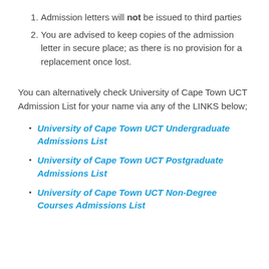Admission letters will not be issued to third parties
You are advised to keep copies of the admission letter in secure place; as there is no provision for a replacement once lost.
You can alternatively check University of Cape Town UCT Admission List for your name via any of the LINKS below;
University of Cape Town UCT Undergraduate Admissions List
University of Cape Town UCT Postgraduate Admissions List
University of Cape Town UCT Non-Degree Courses Admissions List